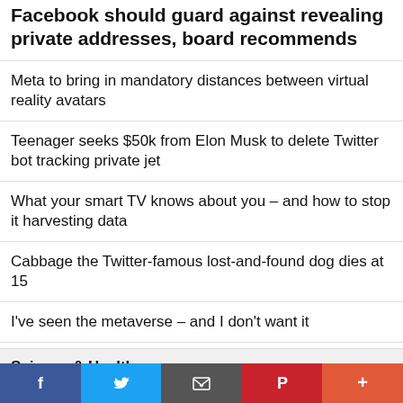Facebook should guard against revealing private addresses, board recommends
Meta to bring in mandatory distances between virtual reality avatars
Teenager seeks $50k from Elon Musk to delete Twitter bot tracking private jet
What your smart TV knows about you – and how to stop it harvesting data
Cabbage the Twitter-famous lost-and-found dog dies at 15
I've seen the metaverse – and I don't want it
Science & Health
[Figure (photo): Facebook thumbs-up like sign on a building with blue sky and trees in background]
Social share bar: Facebook, Twitter, Email, Pinterest, More